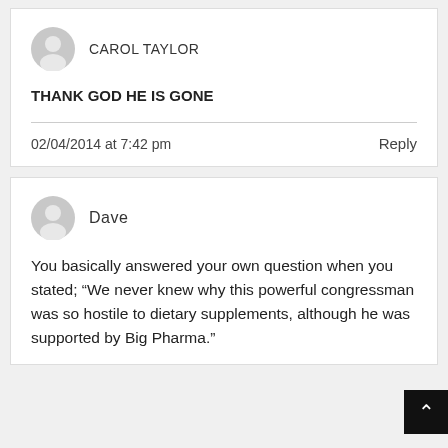CAROL TAYLOR
THANK GOD HE IS GONE
02/04/2014 at 7:42 pm
Reply
Dave
You basically answered your own question when you stated; “We never knew why this powerful congressman was so hostile to dietary supplements, although he was supported by Big Pharma.”